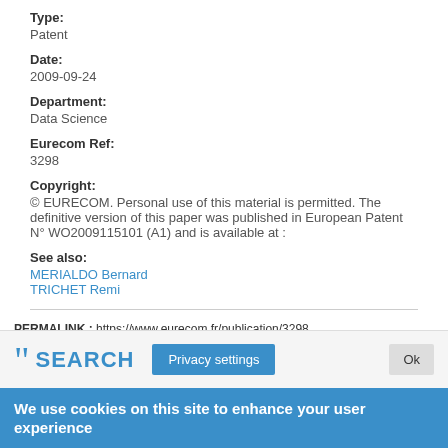Type:
Patent
Date:
2009-09-24
Department:
Data Science
Eurecom Ref:
3298
Copyright:
© EURECOM. Personal use of this material is permitted. The definitive version of this paper was published in European Patent N° WO2009115101 (A1) and is available at :
See also:
MERIALDO Bernard
TRICHET Remi
PERMALINK : https://www.eurecom.fr/publication/3298
SEARCH
Privacy settings
We use cookies on this site to enhance your user experience